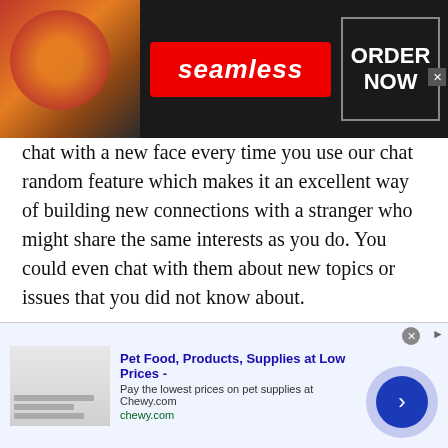[Figure (screenshot): Seamless food delivery advertisement banner with pizza image on left, red Seamless logo in center, ORDER NOW button on right, dark background]
chat with a new face every time you use our chat random feature which makes it an excellent way of building new connections with a stranger who might share the same interests as you do. You could even chat with them about new topics or issues that you did not know about.
Random chat features enable the youth, or teenagers to join a chatroom and speak with someone of their age, from the same gender or even from opposite genders. Since our site has more than 12000 users daily, you can chat with a diverse range of people.
[Figure (screenshot): Pet food advertisement banner for Chewy.com: Pet Food, Products, Supplies at Low Prices - Pay the lowest prices on pet supplies at Chewy.com]